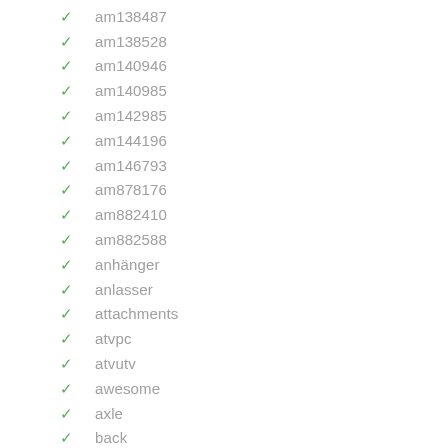am138487
am138528
am140946
am140985
am142985
am144196
am146793
am878176
am882410
am882588
anhänger
anlasser
attachments
atvpc
atvutv
awesome
axle
back